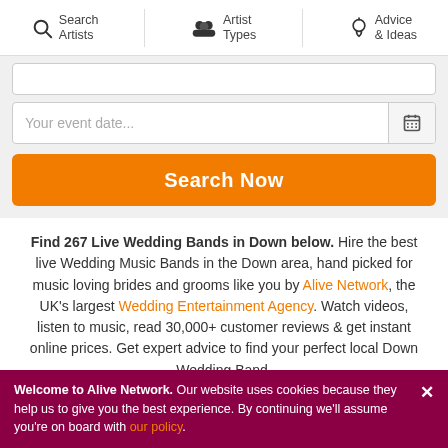Search Artists | Artist Types | Advice & Ideas
[Figure (screenshot): Search form with event date input field and calendar icon]
[Figure (screenshot): Orange Search Now button]
Find 267 Live Wedding Bands in Down below. Hire the best live Wedding Music Bands in the Down area, hand picked for music loving brides and grooms like you by Alive Network, the UK's largest Wedding Entertainment Agency. Watch videos, listen to music, read 30,000+ customer reviews & get instant online prices. Get expert advice to find your perfect local Down Wedding Band.
[Figure (screenshot): Refine Search (267) button and Sort by Popularity dropdown]
Welcome to Alive Network. Our website uses cookies because they help us to give you the best experience. By continuing we'll assume you're on board with our policy.